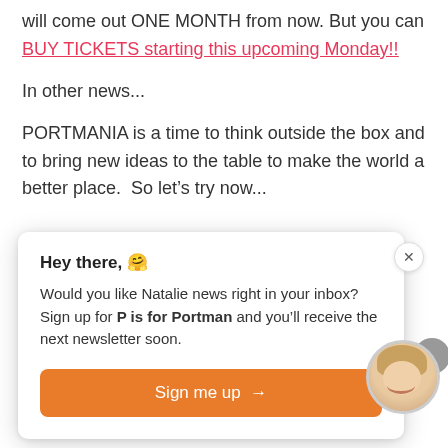will come out ONE MONTH from now. But you can BUY TICKETS starting this upcoming Monday!!
In other news...
PORTMANIA is a time to think outside the box and to bring new ideas to the table to make the world a better place.  So let’s try now...
Hey there, 🤗
Would you like Natalie news right in your inbox? Sign up for P is for Portman and you’ll receive the next newsletter soon.
Sign me up →
[Figure (photo): Circular avatar photo of a smiling woman with blonde hair, partially overlapping the popup dialog. A gray circular object is visible to the right.]